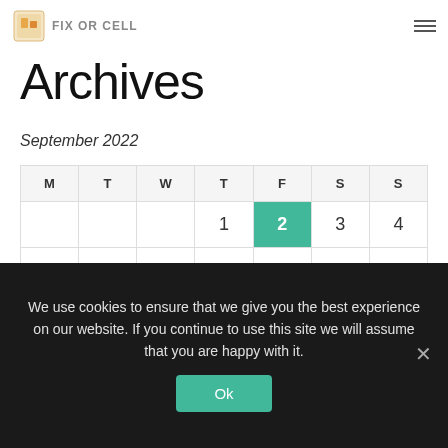FIX OR CELL
Archives
September 2022
| M | T | W | T | F | S | S |
| --- | --- | --- | --- | --- | --- | --- |
|  |  |  | 1 | 2 | 3 | 4 |
| 5 | 6 | 7 | 8 | 9 | 10 | 11 |
| 12 | 13 | 14 | 15 | 16 | 17 | 18 |
We use cookies to ensure that we give you the best experience on our website. If you continue to use this site we will assume that you are happy with it.
Ok